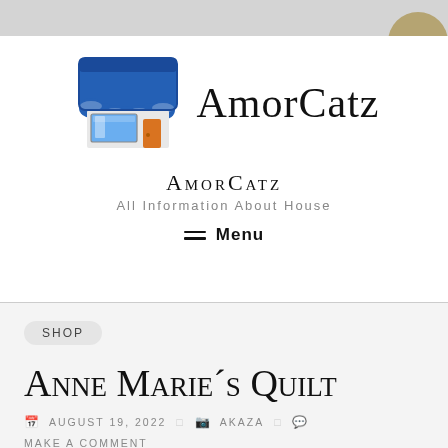[Figure (logo): AmorCatz store logo with blue awning and orange door, followed by the text AmorCatz in large serif font]
AmorCatz
All Information About House
≡ Menu
SHOP
Anne Marie´s Quilt
AUGUST 19, 2022  AKAZA  MAKE A COMMENT